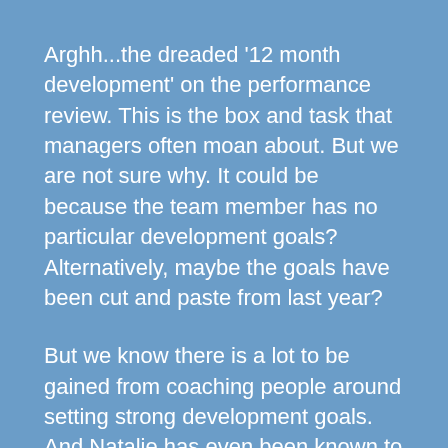Arghh...the dreaded '12 month development' on the performance review.  This is the box and task that managers often moan about.  But we are not sure why.  It could be because the team member has no particular development goals?  Alternatively, maybe the goals have been cut and paste from last year?
But we know there is a lot to be gained from coaching people around setting strong development goals.  And Natalie has even been known to put herself on a performance development plan!